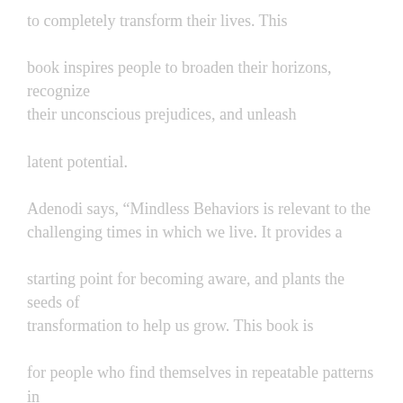to completely transform their lives. This book inspires people to broaden their horizons, recognize their unconscious prejudices, and unleash latent potential. Adenodi says, “Mindless Behaviors is relevant to the challenging times in which we live. It provides a starting point for becoming aware, and plants the seeds of transformation to help us grow. This book is for people who find themselves in repeatable patterns in their lives, who are looking for ways to ‘unstick themselves’. My book is not telling the reader how to live their life or what to do in a situation, but it offers multiple perceptions on how to navigate through challenging conditions, which is what we need in the world.”